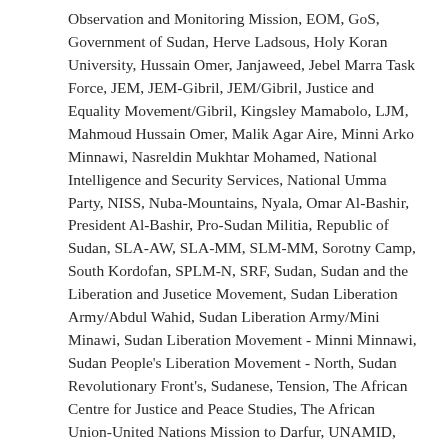Observation and Monitoring Mission, EOM, GoS, Government of Sudan, Herve Ladsous, Holy Koran University, Hussain Omer, Janjaweed, Jebel Marra Task Force, JEM, JEM-Gibril, JEM/Gibril, Justice and Equality Movement/Gibril, Kingsley Mamabolo, LJM, Mahmoud Hussain Omer, Malik Agar Aire, Minni Arko Minnawi, Nasreldin Mukhtar Mohamed, National Intelligence and Security Services, National Umma Party, NISS, Nuba-Mountains, Nyala, Omar Al-Bashir, President Al-Bashir, Pro-Sudan Militia, Republic of Sudan, SLA-AW, SLA-MM, SLM-MM, Sorotny Camp, South Kordofan, SPLM-N, SRF, Sudan, Sudan and the Liberation and Jusetice Movement, Sudan Liberation Army/Abdul Wahid, Sudan Liberation Army/Mini Minawi, Sudan Liberation Movement - Minni Minnawi, Sudan People's Liberation Movement - North, Sudan Revolutionary Front's, Sudanese, Tension, The African Centre for Justice and Peace Studies, The African Union-United Nations Mission to Darfur, UNAMID, Violence, Wali / Leave a comment